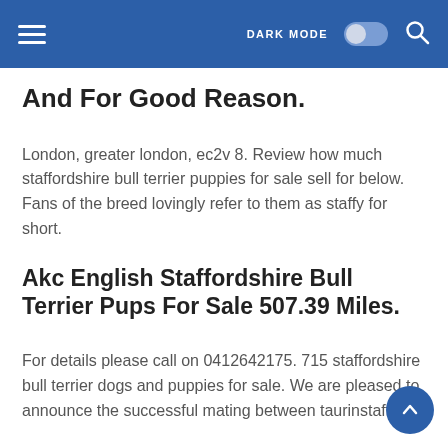DARK MODE [toggle] [search]
And For Good Reason.
London, greater london, ec2v 8. Review how much staffordshire bull terrier puppies for sale sell for below. Fans of the breed lovingly refer to them as staffy for short.
Akc English Staffordshire Bull Terrier Pups For Sale 507.39 Miles.
For details please call on 0412642175. 715 staffordshire bull terrier dogs and puppies for sale. We are pleased to announce the successful mating between taurinstaff ms